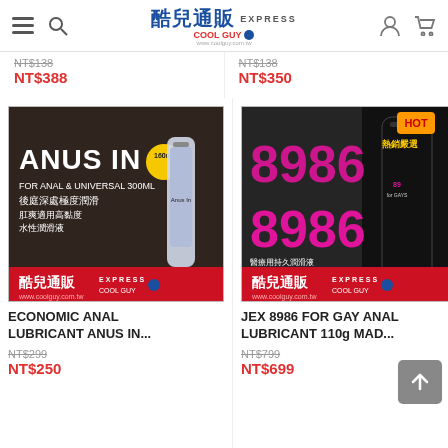酷兒通販 EXPRESS COOL GUY - www.coolguy.com.tw
NT$138  NT$138
NT$388  NT$350
[Figure (photo): Product image for Economic Anal Lubricant Anus In - shows a man and lubricant bottle with Chinese text 後庭深處極度潤滑 and 酷兒通販 EXPRESS COOL GUY branding]
[Figure (photo): Product image for JEX 8986 For Gay Anal Lubricant 110g - shows product bottle with large pink 8986 text, HOT label, 熱銷嚴選 and 酷兒通販 EXPRESS COOL GUY branding]
ECONOMIC ANAL LUBRICANT ANUS IN...
JEX 8986 FOR GAY ANAL LUBRICANT 110g MAD...
NT$299
NT$250
NT$799
NT$699